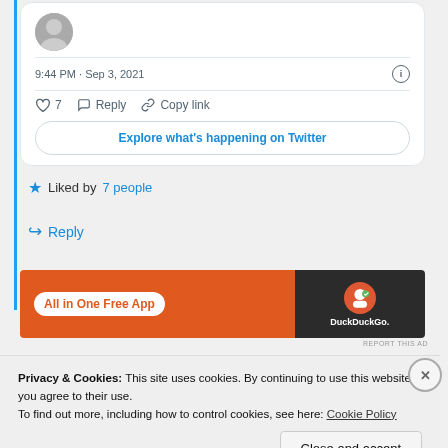[Figure (screenshot): Tweet card showing 9:44 PM · Sep 3, 2021 timestamp with heart (7 likes), Reply, Copy link actions and Explore what's happening on Twitter button]
Liked by 7 people
Reply
[Figure (screenshot): DuckDuckGo ad banner: All in One Free App on orange background with DuckDuckGo logo on dark background]
REPORT THIS AD
Privacy & Cookies: This site uses cookies. By continuing to use this website, you agree to their use.
To find out more, including how to control cookies, see here: Cookie Policy
Close and accept